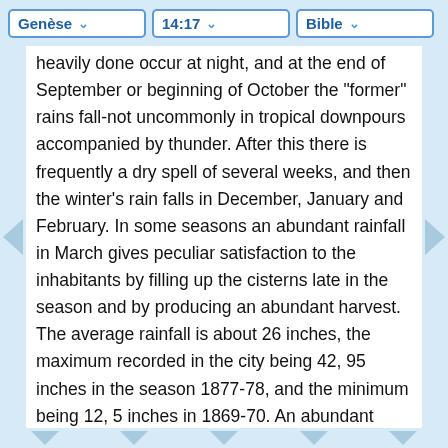Genèse  14:17  Bible
heavily done occur at night, and at the end of September or beginning of October the "former" rains fall-not uncommonly in tropical downpours accompanied by thunder. After this there is frequently a dry spell of several weeks, and then the winter's rain falls in December, January and February. In some seasons an abundant rainfall in March gives peculiar satisfaction to the inhabitants by filling up the cisterns late in the season and by producing an abundant harvest. The average rainfall is about 26 inches, the maximum recorded in the city being 42, 95 inches in the season 1877-78, and the minimum being 12, 5 inches in 1869-70. An abundant rainfall is not only important for storage, for replenishment of the springs and for the crops, but as the city's sewage largely accumulates in the very primitive drains all through the dry season, it requires a considerable force of water to